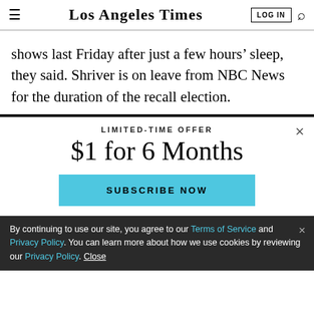Los Angeles Times
shows last Friday after just a few hours’ sleep, they said. Shriver is on leave from NBC News for the duration of the recall election.
LIMITED-TIME OFFER
$1 for 6 Months
SUBSCRIBE NOW
By continuing to use our site, you agree to our Terms of Service and Privacy Policy. You can learn more about how we use cookies by reviewing our Privacy Policy. Close